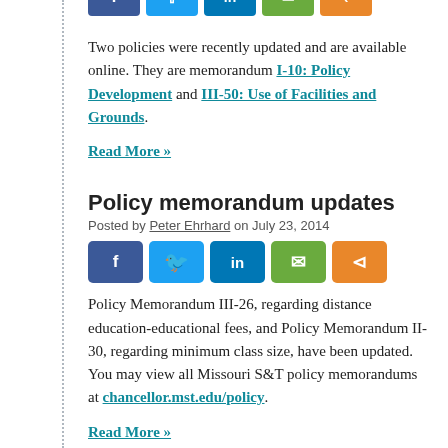[Figure (other): Row of social sharing buttons (Facebook, Twitter, LinkedIn, Email, Share) at top of page, partially cropped]
Two policies were recently updated and are available online. They are memorandum I-10: Policy Development and III-50: Use of Facilities and Grounds.
Read More »
Policy memorandum updates
Posted by Peter Ehrhard on July 23, 2014
[Figure (other): Row of social sharing buttons: Facebook (dark blue), Twitter (light blue), LinkedIn (blue), Email (green), Share (orange)]
Policy Memorandum III-26, regarding distance education-educational fees, and Policy Memorandum II-30, regarding minimum class size, have been updated. You may view all Missouri S&T policy memorandums at chancellor.mst.edu/policy.
Read More »